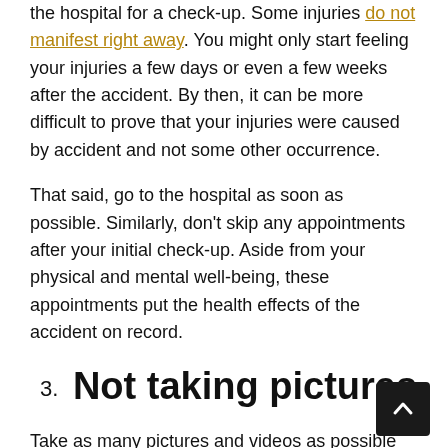the hospital for a check-up. Some injuries do not manifest right away. You might only start feeling your injuries a few days or even a few weeks after the accident. By then, it can be more difficult to prove that your injuries were caused by accident and not some other occurrence.
That said, go to the hospital as soon as possible. Similarly, don't skip any appointments after your initial check-up. Aside from your physical and mental well-being, these appointments put the health effects of the accident on record.
3. Not taking pictures
Take as many pictures and videos as possible while you are on the scene of the accident—injuries, damaged items, the vehicles; record everything. Of course, if your injuries are dire, head to the hospital immediately and—if possible—the police on the scene to record evidence for you (they will